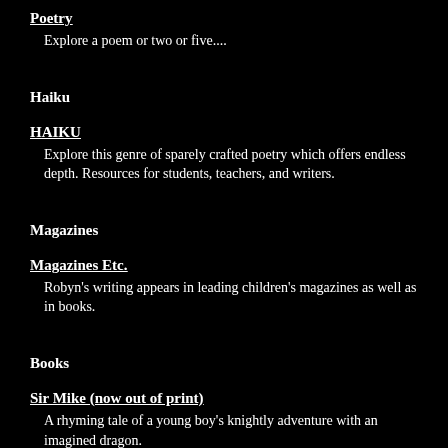Poetry
Explore a poem or two or five....
Haiku
HAIKU
Explore this genre of sparely crafted poetry which offers endless depth. Resources for students, teachers, and writers.
Magazines
Magazines Etc.
Robyn's writing appears in leading children's magazines as well as in books.
Books
Sir Mike (now out of print)
A rhyming tale of a young boy's knightly adventure with an imagined dragon.